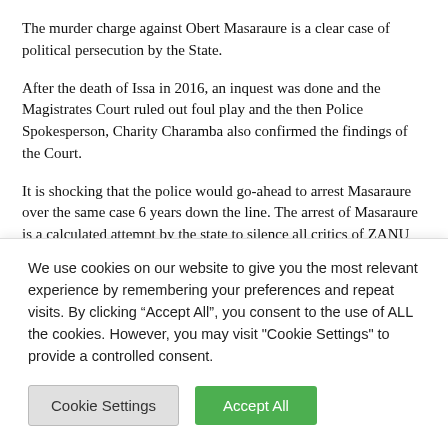The murder charge against Obert Masaraure is a clear case of political persecution by the State.
After the death of Issa in 2016, an inquest was done and the Magistrates Court ruled out foul play and the then Police Spokesperson, Charity Charamba also confirmed the findings of the Court.
It is shocking that the police would go-ahead to arrest Masaraure over the same case 6 years down the line. The arrest of Masaraure is a calculated attempt by the state to silence all critics of ZANU PF’s misrule and misgovernance and equally a deliberate ploy to persecute human rights activists and civil society activists ahead of the 2023 elections.
We take note of the continued weaponization of the law and abuse of the criminal justice system by the ruling ZANU PF party using the police and
We use cookies on our website to give you the most relevant experience by remembering your preferences and repeat visits. By clicking “Accept All”, you consent to the use of ALL the cookies. However, you may visit "Cookie Settings" to provide a controlled consent.